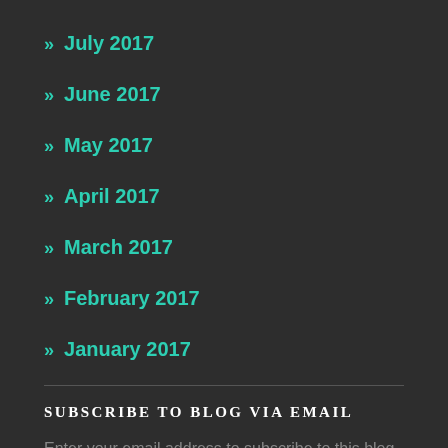» July 2017
» June 2017
» May 2017
» April 2017
» March 2017
» February 2017
» January 2017
SUBSCRIBE TO BLOG VIA EMAIL
Enter your email address to subscribe to this blog and receive notifications of new posts by email.
Email Address